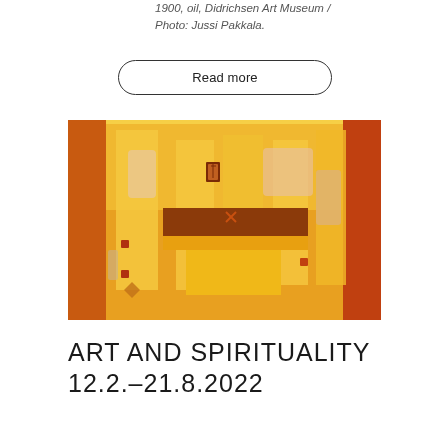1900, oil, Didrichsen Art Museum / Photo: Jussi Pakkala.
Read more
[Figure (photo): Abstract painting dominated by golden yellow and orange tones, with rectangular forms and small symbolic markings suggesting a spiritual or architectural composition.]
ART AND SPIRITUALITY 12.2.–21.8.2022